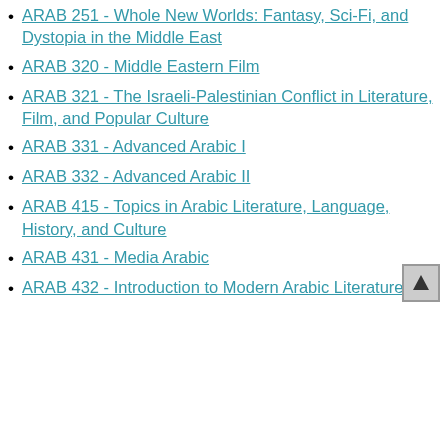ARAB 251 - Whole New Worlds: Fantasy, Sci-Fi, and Dystopia in the Middle East
ARAB 320 - Middle Eastern Film
ARAB 321 - The Israeli-Palestinian Conflict in Literature, Film, and Popular Culture
ARAB 331 - Advanced Arabic I
ARAB 332 - Advanced Arabic II
ARAB 415 - Topics in Arabic Literature, Language, History, and Culture
ARAB 431 - Media Arabic
ARAB 432 - Introduction to Modern Arabic Literature